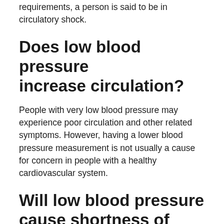requirements, a person is said to be in circulatory shock.
Does low blood pressure increase circulation?
People with very low blood pressure may experience poor circulation and other related symptoms. However, having a lower blood pressure measurement is not usually a cause for concern in people with a healthy cardiovascular system.
Will low blood pressure cause shortness of breath?
Low blood pressure can affect other organs